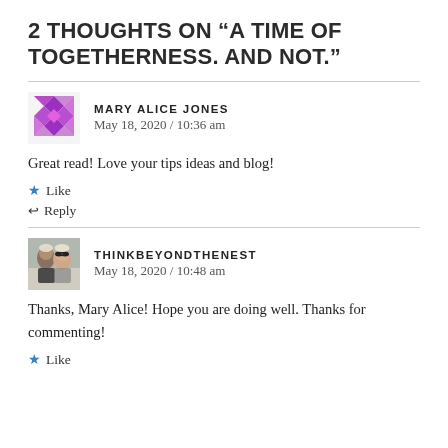2 THOUGHTS ON “A TIME OF TOGETHERNESS. AND NOT.”
MARY ALICE JONES
May 18, 2020 / 10:36 am
Great read! Love your tips ideas and blog!
★ Like
↩ Reply
THINKBEYONDTHENEST
May 18, 2020 / 10:48 am
Thanks, Mary Alice! Hope you are doing well. Thanks for commenting!
★ Like